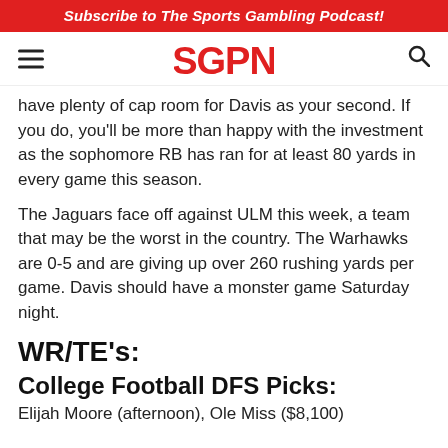Subscribe to The Sports Gambling Podcast!
[Figure (logo): SGPN logo in red with hamburger menu and search icon]
have plenty of cap room for Davis as your second. If you do, you'll be more than happy with the investment as the sophomore RB has ran for at least 80 yards in every game this season.
The Jaguars face off against ULM this week, a team that may be the worst in the country. The Warhawks are 0-5 and are giving up over 260 rushing yards per game. Davis should have a monster game Saturday night.
WR/TE’s:
College Football DFS Picks:
Elijah Moore (afternoon), Ole Miss ($8,100)